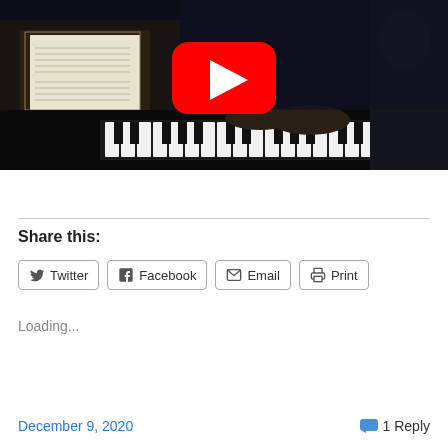[Figure (screenshot): YouTube video thumbnail showing a pianist playing a piano in a dark concert setting with sheet music visible. A large red YouTube play button icon is overlaid in the center.]
Share this:
Twitter  Facebook  Email  Print
Loading...
December 9, 2020   1 Reply